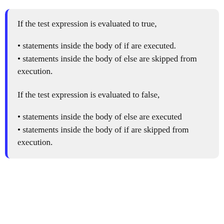If the test expression is evaluated to true,
statements inside the body of if are executed.
statements inside the body of else are skipped from execution.
If the test expression is evaluated to false,
statements inside the body of else are executed
statements inside the body of if are skipped from execution.